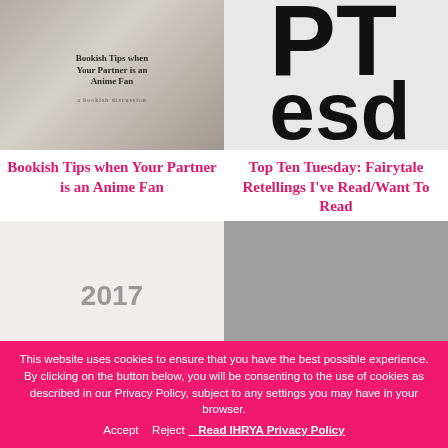[Figure (illustration): Book cover image: Bookish Tips when Your Partner is an Anime Fan - grey toned book cover with decorative text]
[Figure (illustration): Partial large-text graphic showing 'PT' on top and 'esd' below in large black sans-serif font on light grey background]
Bookish Tips when Your Partner is an Anime Fan
Top Ten Tuesday: Fairytale Retellings I've Read/Want To Read
[Figure (illustration): Bottom-left card thumbnail showing partial text '2017' in grey]
[Figure (photo): Bottom-right card with dark grey book/reading photo]
This website uses cookies to ensure that you have the best possible experience. By clicking on the button below, you will be consenting to the use of cookies as described in our Privacy Policy, subject to any settings you may have in your browser.
Accept   Reject   Read IHRYA Privacy Policy